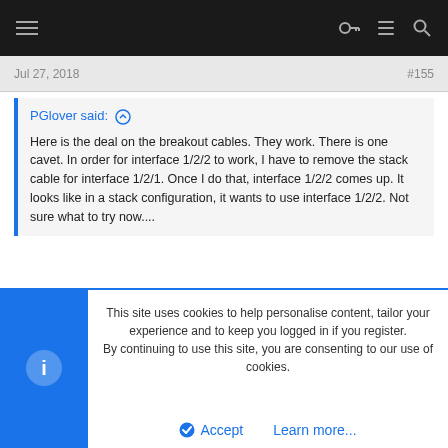≡  [key icon] [list icon] [search icon]
Jul 27, 2018   #155
PGlover said: ↑

Here is the deal on the breakout cables. They work. There is one cavet. In order for interface 1/2/2 to work, I have to remove the stack cable for interface 1/2/1. Once I do that, interface 1/2/2 comes up. It looks like in a stack configuration, it wants to use interface 1/2/2. Not sure what to try now....
hmm...that doesn't make any sense, I'm using the config I sent you and I can use 1/2/2 as breakout with stacking in 1/2/1 no problem
This site uses cookies to help personalise content, tailor your experience and to keep you logged in if you register.
By continuing to use this site, you are consenting to our use of cookies.
Accept   Learn more...